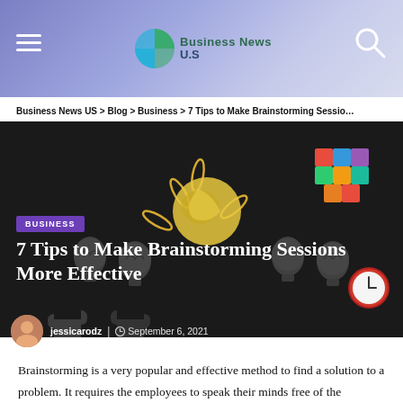Business News U.S
Business News US > Blog > Business > 7 Tips to Make Brainstorming Sessio…
[Figure (photo): Dark background with brainstorming-themed objects: crumpled paper, light bulbs, puzzle pieces, colorful blocks, alarm clock, paper clips arranged on a dark surface]
BUSINESS
7 Tips to Make Brainstorming Sessions More Effective
jessicarodz | September 6, 2021
Brainstorming is a very popular and effective method to find a solution to a problem. It requires the employees to speak their minds free of the suggestions coming to their minds. People explore the different possible answers to a question from different perspectives.